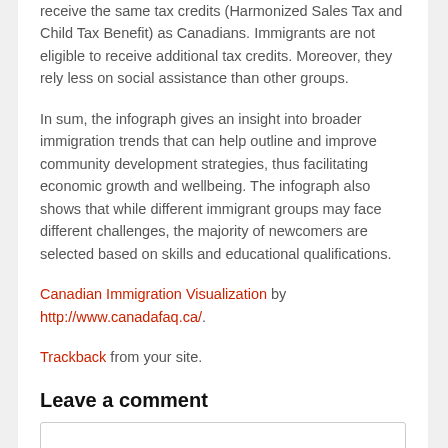receive the same tax credits (Harmonized Sales Tax and Child Tax Benefit) as Canadians. Immigrants are not eligible to receive additional tax credits. Moreover, they rely less on social assistance than other groups.
In sum, the infograph gives an insight into broader immigration trends that can help outline and improve community development strategies, thus facilitating economic growth and wellbeing. The infograph also shows that while different immigrant groups may face different challenges, the majority of newcomers are selected based on skills and educational qualifications.
Canadian Immigration Visualization by http://www.canadafaq.ca/.
Trackback from your site.
Leave a comment